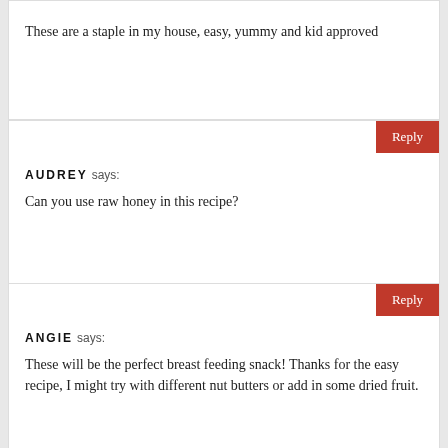These are a staple in my house, easy, yummy and kid approved
AUDREY says:
Can you use raw honey in this recipe?
ANGIE says:
These will be the perfect breast feeding snack! Thanks for the easy recipe, I might try with different nut butters or add in some dried fruit.